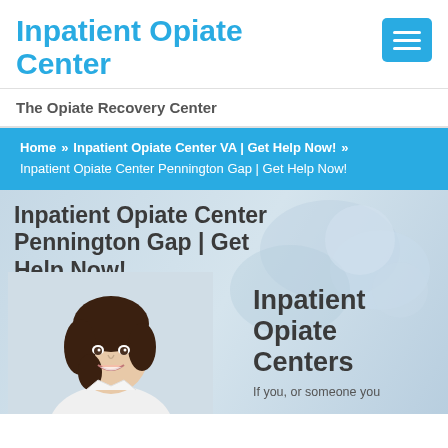Inpatient Opiate Center
[Figure (other): Hamburger menu button (three white lines on blue background)]
The Opiate Recovery Center
Home » Inpatient Opiate Center VA | Get Help Now! » Inpatient Opiate Center Pennington Gap | Get Help Now!
Inpatient Opiate Center Pennington Gap | Get Help Now!
[Figure (photo): Young woman with dark hair smiling, wearing white top, against light background]
Inpatient Opiate Centers
If you, or someone you